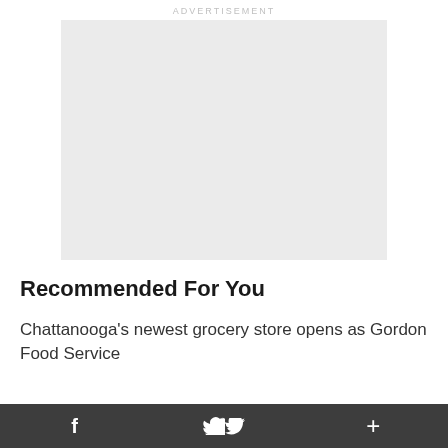ADVERTISEMENT
[Figure (other): Empty light gray advertisement placeholder box]
Recommended For You
Chattanooga's newest grocery store opens as Gordon Food Service
f  [twitter bird]  +